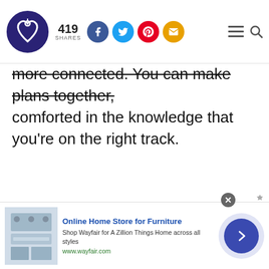419 SHARES
more connected. You can make plans together, comforted in the knowledge that you're on the right track.
ADVERTISEMENT
[Figure (other): Wayfair advertisement: Online Home Store for Furniture. Shop Wayfair for A Zillion Things Home across all styles. www.wayfair.com]